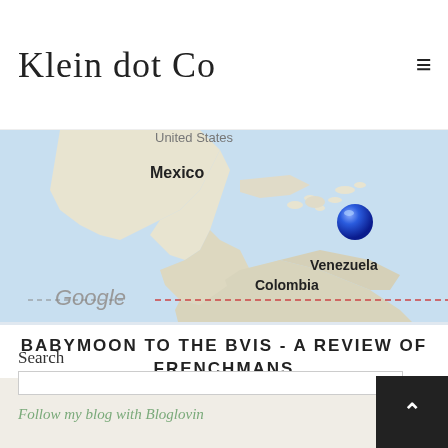Klein dot Co
[Figure (map): Google Maps screenshot showing Caribbean region with Mexico, Venezuela, Colombia labeled and a blue location pin marker in the BVI area]
BABYMOON TO THE BVIS - A REVIEW OF FRENCHMANS
Search
Follow my blog with Bloglovin